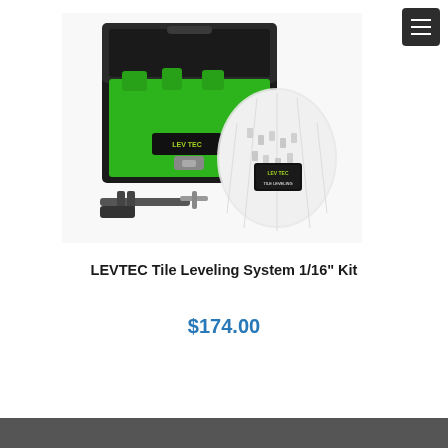[Figure (photo): LEVTEC Tile Leveling System 1/16" Kit product photo showing a black toolbox open with green foam interior, a bag of white plastic clips with LEVTEC branding, and a metal installation tool.]
LEVTEC Tile Leveling System 1/16" Kit
$174.00